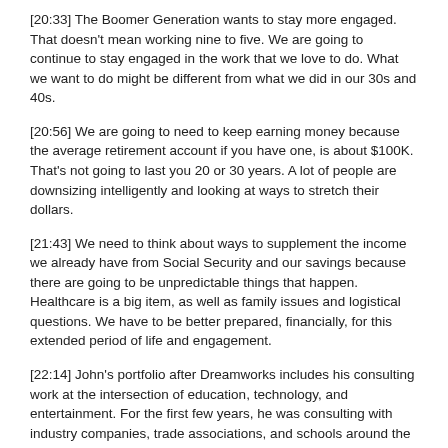[20:33] The Boomer Generation wants to stay more engaged. That doesn't mean working nine to five. We are going to continue to stay engaged in the work that we love to do. What we want to do might be different from what we did in our 30s and 40s.
[20:56] We are going to need to keep earning money because the average retirement account if you have one, is about $100K. That's not going to last you 20 or 30 years. A lot of people are downsizing intelligently and looking at ways to stretch their dollars.
[21:43] We need to think about ways to supplement the income we already have from Social Security and our savings because there are going to be unpredictable things that happen. Healthcare is a big item, as well as family issues and logistical questions. We have to be better prepared, financially, for this extended period of life and engagement.
[22:14] John's portfolio after Dreamworks includes his consulting work at the intersection of education, technology, and entertainment. For the first few years, he was consulting with industry companies, trade associations, and schools around the future of talent search, curriculum, and skills.
[22:59] In 2012, John was asked to present a TEDx talk and the topic was Transformation. As he had been reading up on all the issues the Boomer Generation had had, coming out of the recession, around retirement, savings, and getting jobs, he asked, if we're living longer and nobody wants to hire us, what are we going to do?